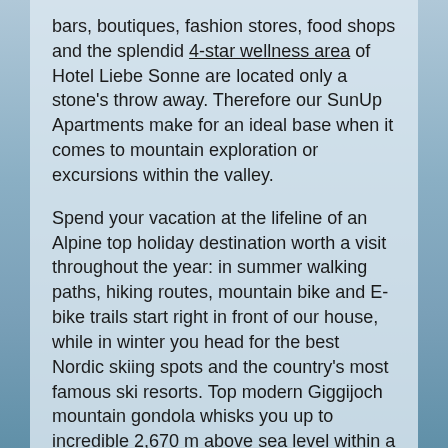bars, boutiques, fashion stores, food shops and the splendid 4-star wellness area of Hotel Liebe Sonne are located only a stone's throw away. Therefore our SunUp Apartments make for an ideal base when it comes to mountain exploration or excursions within the valley.
Spend your vacation at the lifeline of an Alpine top holiday destination worth a visit throughout the year: in summer walking paths, hiking routes, mountain bike and E-bike trails start right in front of our house, while in winter you head for the best Nordic skiing spots and the country's most famous ski resorts. Top modern Giggijoch mountain gondola whisks you up to incredible 2,670 m above sea level within a few minutes. Picture-book mountain views included.
Be quick and watch out for your pole position in Sölden: the highly coveted apartments right at the heart of Sölden await you here and now.